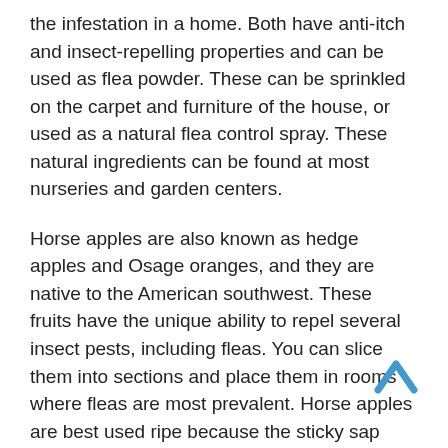the infestation in a home. Both have anti-itch and insect-repelling properties and can be used as flea powder. These can be sprinkled on the carpet and furniture of the house, or used as a natural flea control spray. These natural ingredients can be found at most nurseries and garden centers.
Horse apples are also known as hedge apples and Osage oranges, and they are native to the American southwest. These fruits have the unique ability to repel several insect pests, including fleas. You can slice them into sections and place them in rooms where fleas are most prevalent. Horse apples are best used ripe because the sticky sap may damage clothing and other items around the house. These natural ingredients also contain beneficial nematodes, which kill parasitic flies and control ground-based insects.
Neem oil is an effective natural insect repellent for fleas